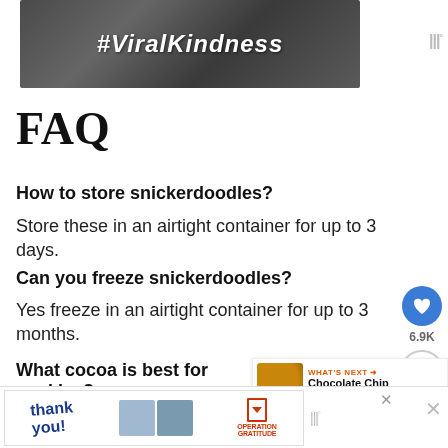[Figure (other): Dark stone/gravel textured banner ad with white bold italic text '#ViralKindness']
FAQ
How to store snickerdoodles?
Store these in an airtight container for up to 3 days.
Can you freeze snickerdoodles?
Yes freeze in an airtight container for up to 3 months.
What cocoa is best for cookies?
For this recipe be sure to use regular unsweetened
[Figure (other): Bottom banner advertisement for Operation Gratitude with 'Thank you!' text and people holding packages]
[Figure (other): WHAT'S NEXT widget showing Chocolate Chip Snickerdoodles with cookie thumbnail]